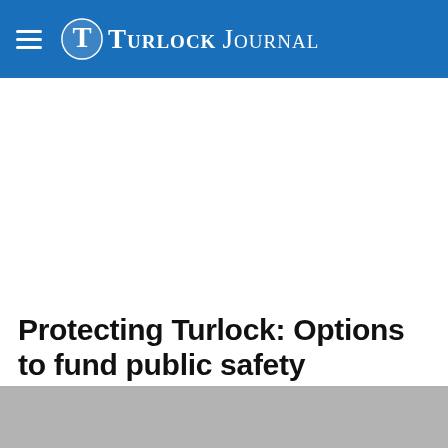Turlock Journal
Protecting Turlock: Options to fund public safety
[Figure (photo): Partially visible news article photo, gray placeholder image at the bottom of the page]